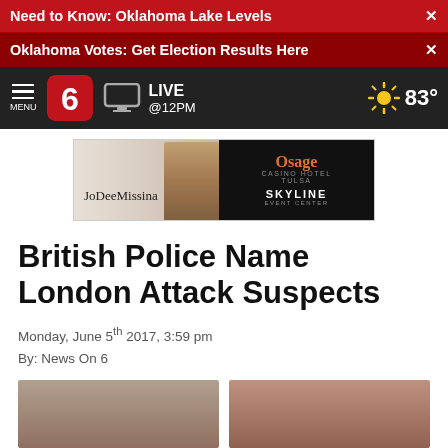Need to Know: Oklahoma Lake Levels ×
Oklahoma Votes: Get Election Results Here ×
LIVE @12PM  83°
[Figure (screenshot): Advertisement banner for Jo Dee Messina at Osage Casino Hotel Tulsa Skyline Event Center]
British Police Name London Attack Suspects
Monday, June 5th 2017, 3:59 pm
By: News On 6
[Figure (photo): Two portrait photos of suspects side by side, partially visible at bottom of page]